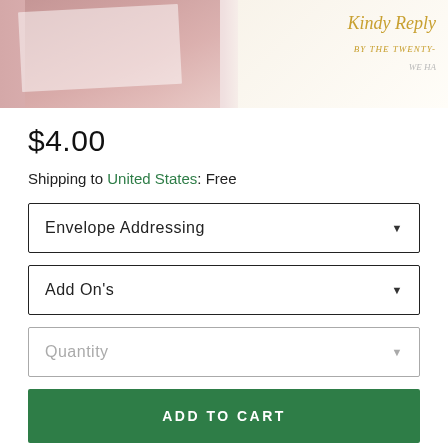[Figure (photo): Product photo showing wedding stationery cards on a pink/blush background, with gold script text visible on white cards]
$4.00
Shipping to United States: Free
Envelope Addressing (dropdown)
Add On's (dropdown)
Quantity (dropdown)
ADD TO CART
Ask a question
Details    Shipping & Policies